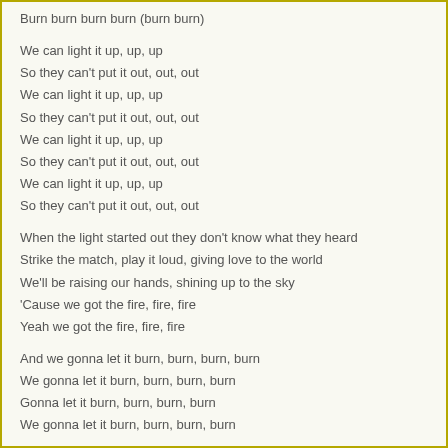Burn burn burn burn (burn burn)
We can light it up, up, up
So they can't put it out, out, out
We can light it up, up, up
So they can't put it out, out, out
We can light it up, up, up
So they can't put it out, out, out
We can light it up, up, up
So they can't put it out, out, out
When the light started out they don't know what they heard
Strike the match, play it loud, giving love to the world
We'll be raising our hands, shining up to the sky
'Cause we got the fire, fire, fire
Yeah we got the fire, fire, fire
And we gonna let it burn, burn, burn, burn
We gonna let it burn, burn, burn, burn
Gonna let it burn, burn, burn, burn
We gonna let it burn, burn, burn, burn